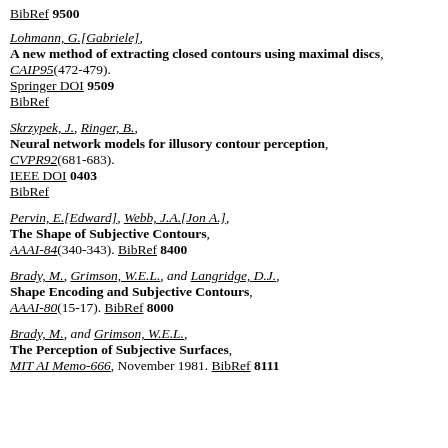BibRef 9500
Lohmann, G.[Gabriele], A new method of extracting closed contours using maximal discs, CAIP95(472-479). Springer DOI 9509 BibRef
Skrzypek, J., Ringer, B., Neural network models for illusory contour perception, CVPR92(681-683). IEEE DOI 0403 BibRef
Pervin, E.[Edward], Webb, J.A.[Jon A.], The Shape of Subjective Contours, AAAI-84(340-343). BibRef 8400
Brady, M., Grimson, W.E.L., and Langridge, D.J., Shape Encoding and Subjective Contours, AAAI-80(15-17). BibRef 8000
Brady, M., and Grimson, W.E.L., The Perception of Subjective Surfaces, MIT AI Memo-666, November 1981. BibRef 8111